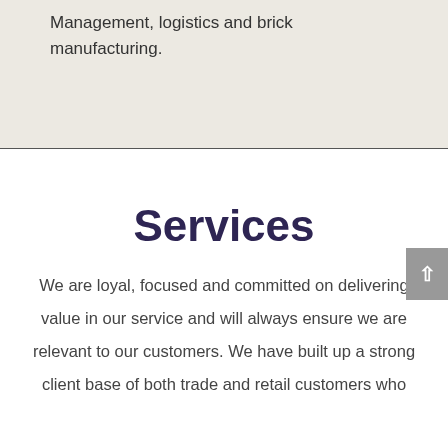Management, logistics and brick manufacturing.
Services
We are loyal, focused and committed on delivering value in our service and will always ensure we are relevant to our customers. We have built up a strong client base of both trade and retail customers who